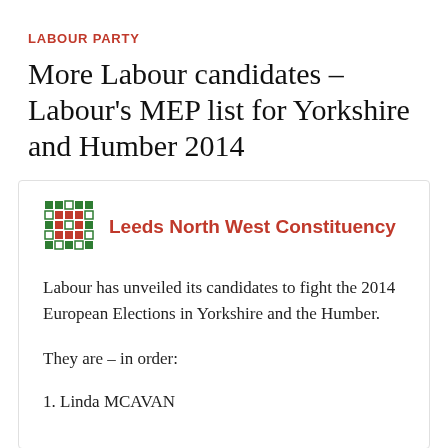LABOUR PARTY
More Labour candidates – Labour's MEP list for Yorkshire and Humber 2014
[Figure (logo): Leeds North West Constituency logo — green/red pixel grid pattern]
Leeds North West Constituency
Labour has unveiled its candidates to fight the 2014 European Elections in Yorkshire and the Humber.
They are – in order:
1. Linda MCAVAN